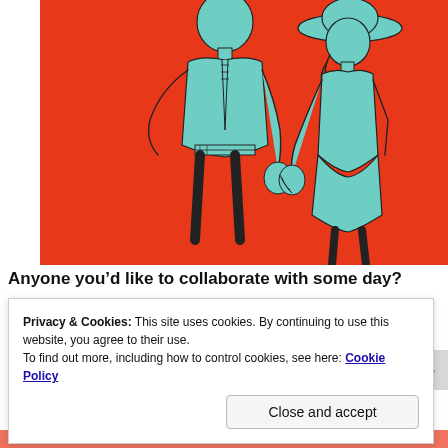[Figure (illustration): Illustration of a man and woman holding hands against a red background. The figures are drawn in a mint/teal line-art style. The man is on the left wearing a suit and tie. The woman is on the right wearing a wide-brimmed hat, sleeveless top, and skirt.]
Anyone you’d like to collaborate with some day?
Privacy & Cookies: This site uses cookies. By continuing to use this website, you agree to their use.
To find out more, including how to control cookies, see here: Cookie Policy